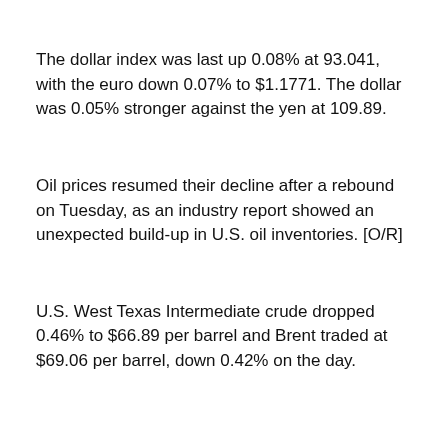The dollar index was last up 0.08% at 93.041, with the euro down 0.07% to $1.1771. The dollar was 0.05% stronger against the yen at 109.89.
Oil prices resumed their decline after a rebound on Tuesday, as an industry report showed an unexpected build-up in U.S. oil inventories. [O/R]
U.S. West Texas Intermediate crude dropped 0.46% to $66.89 per barrel and Brent traded at $69.06 per barrel, down 0.42% on the day.